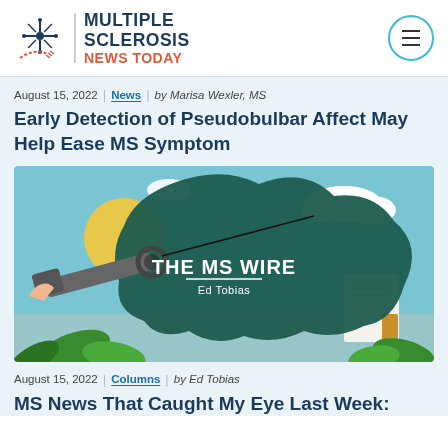Multiple Sclerosis News Today
August 15, 2022 | News | by Marisa Wexler, MS
Early Detection of Pseudobulbar Affect May Help Ease MS Symptom
[Figure (illustration): The MS Wire illustrated banner featuring Ed Tobias, with a dark green blob shape, telescope/scope, tropical plants, newspaper, and light blue sky background]
August 15, 2022 | Columns | by Ed Tobias
MS News That Caught My Eye Last Week: